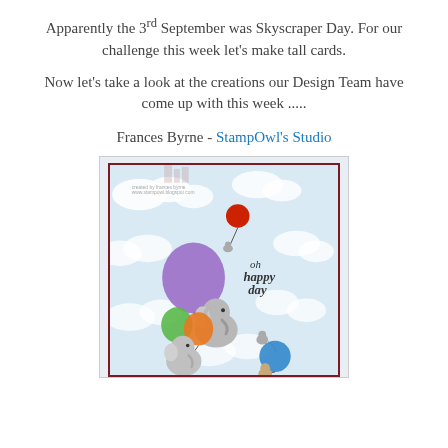Apparently the 3rd September was Skyscraper Day. For our challenge this week let's make tall cards.
Now let's take a look at the creations our Design Team have come up with this week .....
Frances Byrne - StampOwl's Studio
[Figure (photo): A tall greeting card featuring illustrated elephants and animals holding colorful balloons (purple, red, green, orange, blue) floating among clouds. Text on card reads 'oh happy day'. Card has a dark red inner border on a light blue cloud background.]